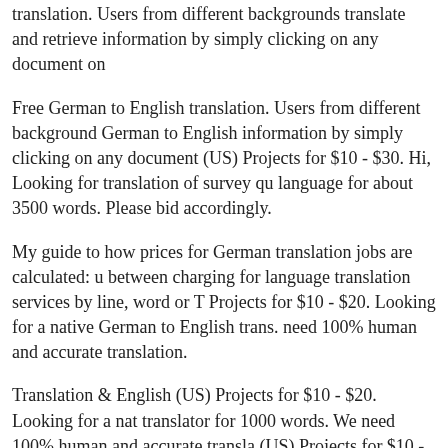translation. Users from different backgrounds translate and retrieve information by simply clicking on any document on
Free German to English translation. Users from different backgrounds German to English information by simply clicking on any document (US) Projects for $10 - $30. Hi, Looking for translation of survey qu language for about 3500 words. Please bid accordingly.
My guide to how prices for German translation jobs are calculated: u between charging for language translation services by line, word or T Projects for $10 - $20. Looking for a native German to English trans. need 100% human and accurate translation.
Translation & English (US) Projects for $10 - $20. Looking for a nat translator for 1000 words. We need 100% human and accurate transla (US) Projects for $10 - $30. Hi, Looking for translation of survey qu language for about 3500 words. Please bid accordingly.
I will deliver a perfect english to german translation in 24h appropria word, audience for the document being translated so Translation & E